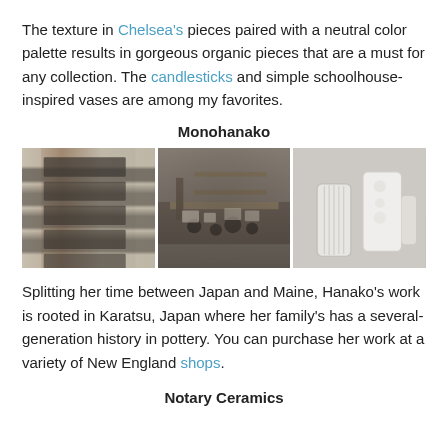The texture in Chelsea's pieces paired with a neutral color palette results in gorgeous organic pieces that are a must for any collection. The candlesticks and simple schoolhouse-inspired vases are among my favorites.
Monohanako
[Figure (photo): Three photos side by side: left shows layered ceramic tiles on wood-textured background; center shows a shop interior with shelves and ceramic wares displayed on a wooden table; right shows two white textured cylindrical ceramic vessels.]
Splitting her time between Japan and Maine, Hanako's work is rooted in Karatsu, Japan where her family's has a several-generation history in pottery. You can purchase her work at a variety of New England shops.
Notary Ceramics